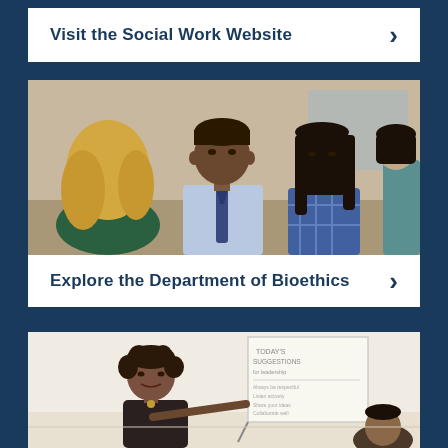Visit the Social Work Website
[Figure (photo): Group of people in discussion: a man in a shirt and tie talking with a woman with Asian features wearing a plaid shirt, and a blonde woman in a green top visible from behind]
Explore the Department of Bioethics
[Figure (photo): A woman with short curly hair presenting or teaching at a whiteboard/flip chart]